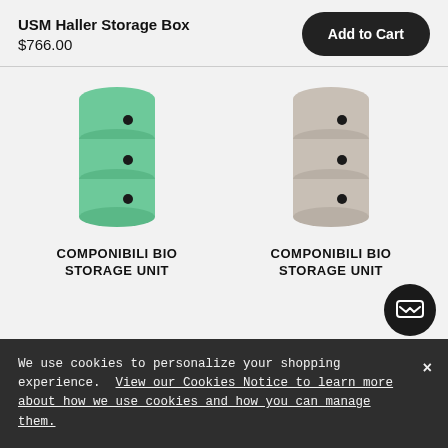USM Haller Storage Box
$766.00
Add to Cart
[Figure (photo): Green cylindrical three-drawer storage unit (Componibili Bio Storage Unit, green color)]
[Figure (photo): Beige/taupe cylindrical three-drawer storage unit (Componibili Bio Storage Unit, light beige color)]
COMPONIBILI BIO STORAGE UNIT
COMPONIBILI BIO STORAGE UNIT
We use cookies to personalize your shopping experience. View our Cookies Notice to learn more about how we use cookies and how you can manage them.